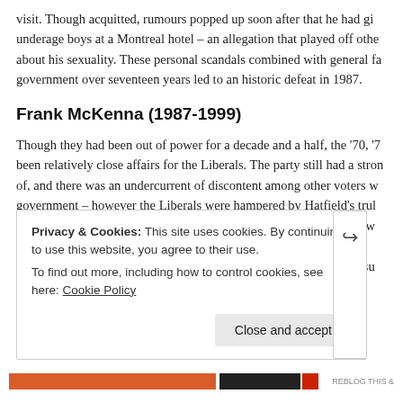visit. Though acquitted, rumours popped up soon after that he had gi... underage boys at a Montreal hotel – an allegation that played off othe... about his sexuality. These personal scandals combined with general fa... government over seventeen years led to an historic defeat in 1987.
Frank McKenna (1987-1999)
Though they had been out of power for a decade and a half, the '70, '7... been relatively close affairs for the Liberals. The party still had a stron... of, and there was an undercurrent of discontent among other voters w... government – however the Liberals were hampered by Hatfield's trul... Conservativism, as well as the growing support of the fledgling New D... The Liberals needed to craft a different kind of message to get the su... another government.
Privacy & Cookies: This site uses cookies. By continuing to use this website, you agree to their use.
To find out more, including how to control cookies, see here: Cookie Policy

Close and accept